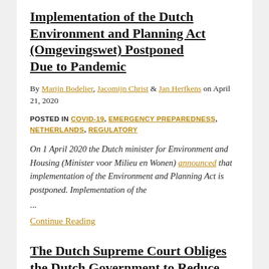Implementation of the Dutch Environment and Planning Act (Omgevingswet) Postponed Due to Pandemic
By Marijn Bodelier, Jacomijn Christ & Jan Herfkens on April 21, 2020
POSTED IN COVID-19, EMERGENCY PREPAREDNESS, NETHERLANDS, REGULATORY
On 1 April 2020 the Dutch minister for Environment and Housing (Minister voor Milieu en Wonen) announced that implementation of the Environment and Planning Act is postponed. Implementation of the
...
Continue Reading
The Dutch Supreme Court Obliges the Dutch Government to Reduce